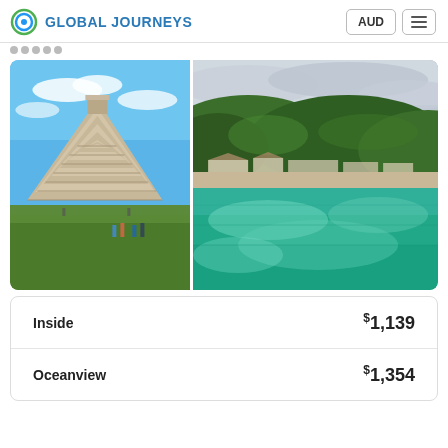GLOBAL JOURNEYS | AUD
[Figure (photo): Left: Chichen Itza pyramid (El Castillo) under blue sky with tourists walking on green lawn. Right: Tropical beach with turquoise/teal water and green forested hills with buildings in background.]
| Type | Price |
| --- | --- |
| Inside | $1,139 |
| Oceanview | $1,354 |